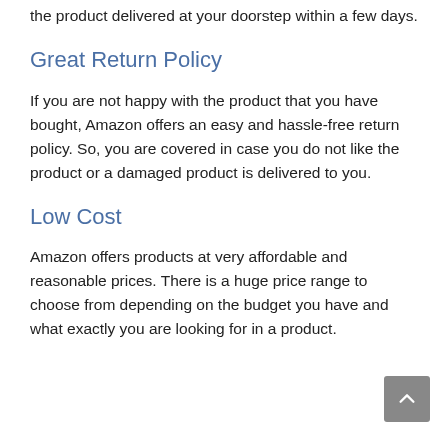the product delivered at your doorstep within a few days.
Great Return Policy
If you are not happy with the product that you have bought, Amazon offers an easy and hassle-free return policy. So, you are covered in case you do not like the product or a damaged product is delivered to you.
Low Cost
Amazon offers products at very affordable and reasonable prices. There is a huge price range to choose from depending on the budget you have and what exactly you are looking for in a product.